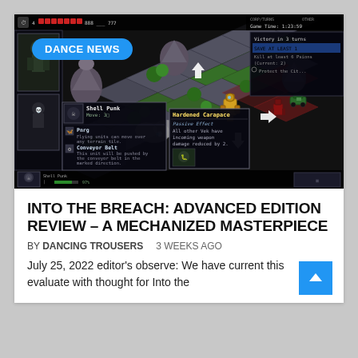[Figure (screenshot): Screenshot of the video game 'Into the Breach: Advanced Edition' showing an isometric tactical grid with mechs and enemies. A 'DANCE NEWS' badge is overlaid on the upper left of the screenshot. The game UI shows health bars, objectives panel, unit info panels, and a 'Hardened Carapace' ability tooltip.]
INTO THE BREACH: ADVANCED EDITION REVIEW – A MECHANIZED MASTERPIECE
BY DANCING TROUSERS   3 WEEKS AGO
July 25, 2022 editor's observe: We have current this evaluate with thought for Into the